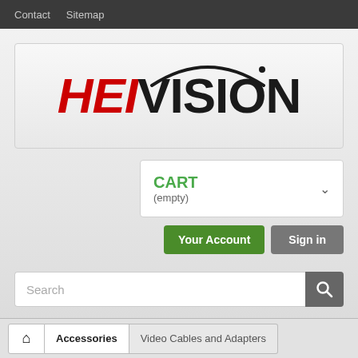Contact  Sitemap
[Figure (logo): HeiVision logo with red italic HEI and black bold VISION text with arc above]
CART (empty)
Your Account  Sign in
Search
Home (icon)
Accessories
Video Cables and Adapters